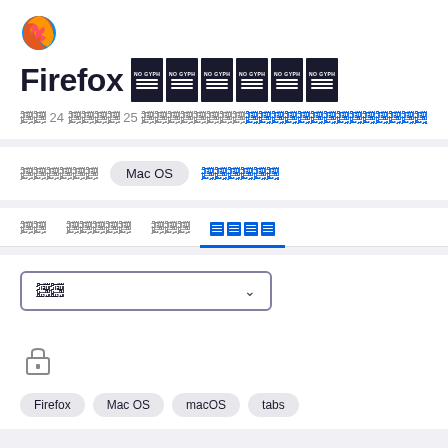[Figure (logo): Firefox browser logo - orange/red flame around a blue globe]
Firefox [glyph blocks]
From 24 to 25 [localized text with link]
[OS label]  Mac OS  [link]
[tabs: item1  item2  item3  active-glyph-tab]
[dropdown: 모두  v]
[Figure (illustration): Lock icon (padlock)]
Firefox   Mac OS   macOS   tabs